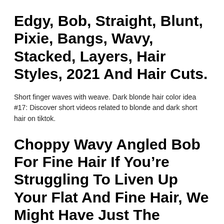Edgy, Bob, Straight, Blunt, Pixie, Bangs, Wavy, Stacked, Layers, Hair Styles, 2021 And Hair Cuts.
Short finger waves with weave. Dark blonde hair color idea #17: Discover short videos related to blonde and dark short hair on tiktok.
Choppy Wavy Angled Bob For Fine Hair If You’re Struggling To Liven Up Your Flat And Fine Hair, We Might Have Just The Hairstyle For You.
Go a little darker with your ash blonde coloring. This look,